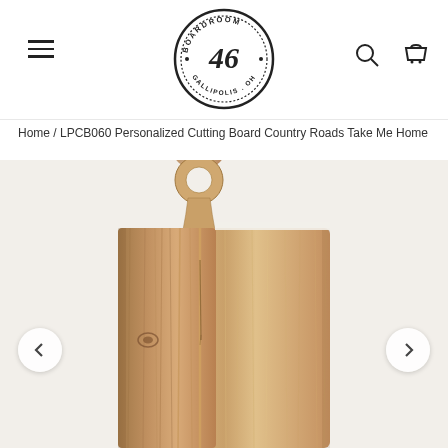[Figure (logo): Boardroom 46 Gallipolis OH circular logo with number 46 in center]
Home / LPCB060 Personalized Cutting Board Country Roads Take Me Home
[Figure (photo): Wooden cutting board with round hole handle at top, made of mango/acacia wood with natural grain texture, photographed on white background]